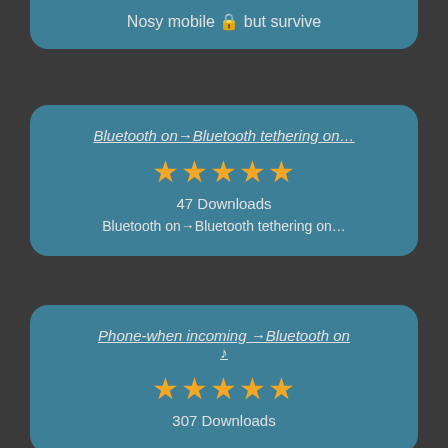Nosy mobile 🔒 but survive
Bluetooth on→Bluetooth tethering on…
★★★★★
47 Downloads
Bluetooth on→Bluetooth tethering on…
Phone-when incoming →Bluetooth on ♪
★★★★★
307 Downloads